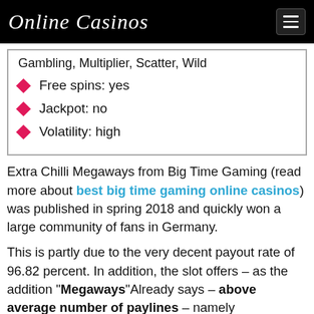Online Casinos
Gambling, Multiplier, Scatter, Wild
Free spins: yes
Jackpot: no
Volatility: high
Extra Chilli Megaways from Big Time Gaming (read more about best big time gaming online casinos) was published in spring 2018 and quickly won a large community of fans in Germany.
This is partly due to the very decent payout rate of 96.82 percent. In addition, the slot offers – as the addition "Megaways"Already says – above average number of paylines – namely